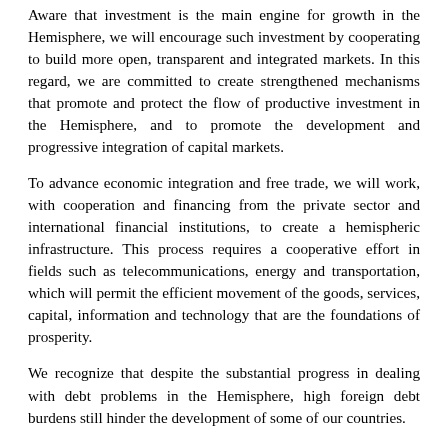Aware that investment is the main engine for growth in the Hemisphere, we will encourage such investment by cooperating to build more open, transparent and integrated markets. In this regard, we are committed to create strengthened mechanisms that promote and protect the flow of productive investment in the Hemisphere, and to promote the development and progressive integration of capital markets.
To advance economic integration and free trade, we will work, with cooperation and financing from the private sector and international financial institutions, to create a hemispheric infrastructure. This process requires a cooperative effort in fields such as telecommunications, energy and transportation, which will permit the efficient movement of the goods, services, capital, information and technology that are the foundations of prosperity.
We recognize that despite the substantial progress in dealing with debt problems in the Hemisphere, high foreign debt burdens still hinder the development of some of our countries.
We recognize that economic integration and the creation of a free trade area will be complex endeavors, particularly in view of the wide differences in the levels of development and size of economies existing in our Hemisphere. We will remain cognizant of these differences as we work toward economic integration in the Hemisphere. We look to our own resources, ingenuity, and